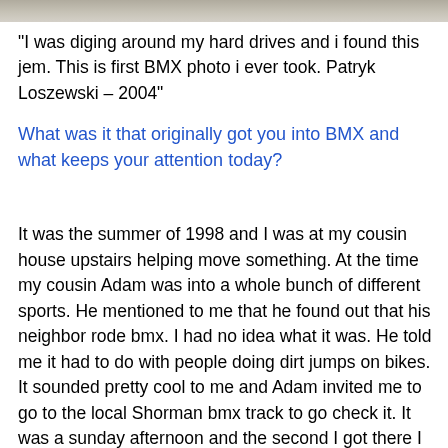[Figure (photo): Top edge of a photograph, showing a light-colored textured surface, likely a BMX photo partially cropped at the top of the page.]
“I was diging around my hard drives and i found this jem. This is first BMX photo i ever took. Patryk Loszewski – 2004”
What was it that originally got you into BMX and what keeps your attention today?
It was the summer of 1998 and I was at my cousin house upstairs helping move something. At the time my cousin Adam was into a whole bunch of different sports. He mentioned to me that he found out that his neighbor rode bmx. I had no idea what it was. He told me it had to do with people doing dirt jumps on bikes. It sounded pretty cool to me and Adam invited me to go to the local Shorman bmx track to go check it. It was a sunday afternoon and the second I got there I just thought it was the most amazing